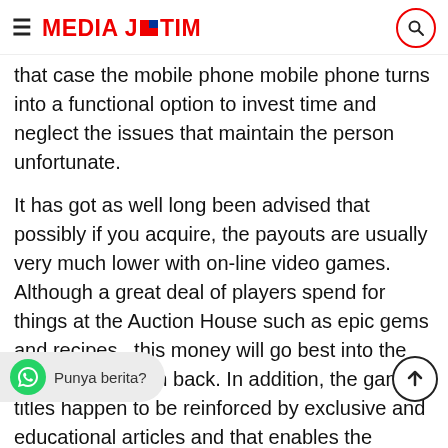MEDIA JATIM
that case the mobile phone mobile phone turns into a functional option to invest time and neglect the issues that maintain the person unfortunate.
It has got as well long been advised that possibly if you acquire, the payouts are usually very much lower with on-line video games. Although a great deal of players spend for things at the Auction House such as epic gems and recipes , this money will go best into the player foundation back. In addition, the game titles happen to be reinforced by exclusive and educational articles and that enables the customers to continue to keep track of every phase of the game played. To receive the just about all price for your funds, as a new player you shall have a